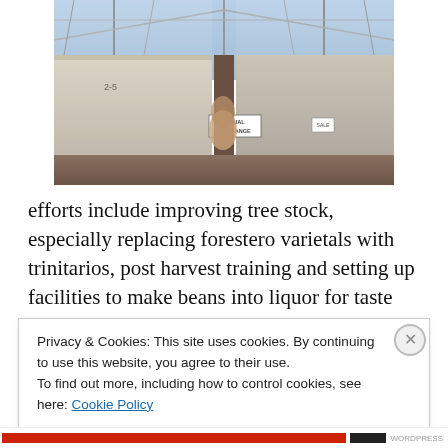[Figure (photo): Photo of large white trailers or storage containers under a semi-transparent greenhouse or shade structure. A sign reading 'EQUAL EXCHANGE' is visible on one of the trailers. The scene appears to be an agricultural or logistics facility.]
efforts include improving tree stock, especially replacing forestero varietals with trinitarios, post harvest training and setting up facilities to make beans into liquor for taste tests.
Privacy & Cookies: This site uses cookies. By continuing to use this website, you agree to their use.
To find out more, including how to control cookies, see here: Cookie Policy